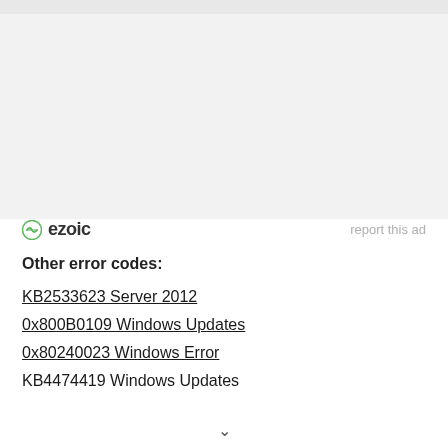[Figure (other): Gray top bar / banner area at top of page]
[Figure (logo): Ezoic logo with circular icon and 'ezoic' text, and 'report this ad' link to the right]
Other error codes:
KB2533623 Server 2012
0x800B0109 Windows Updates
0x80240023 Windows Error
KB4474419 Windows Updates